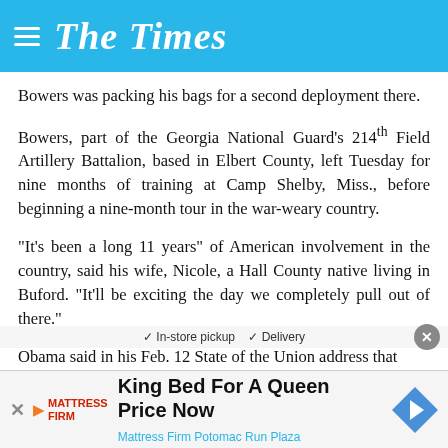The Times
Bowers was packing his bags for a second deployment there.
Bowers, part of the Georgia National Guard's 214th Field Artillery Battalion, based in Elbert County, left Tuesday for nine months of training at Camp Shelby, Miss., before beginning a nine-month tour in the war-weary country.
“It’s been a long 11 years” of American involvement in the country, said his wife, Nicole, a Hall County native living in Buford. “It’ll be exciting the day we completely pull out of there.”
Obama said in his Feb. 12 State of the Union address that 34,000 of 66,000 troops now stationed in the country w...
[Figure (infographic): Advertisement banner for Mattress Firm: King Bed For A Queen Price Now, with navigation arrow icon]